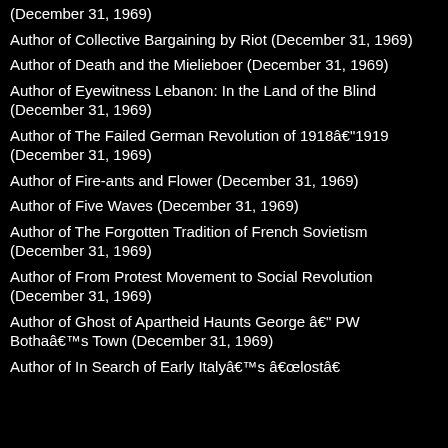(December 31, 1969)
Author of Collective Bargaining by Riot (December 31, 1969)
Author of Death and the Mielieboer (December 31, 1969)
Author of Eyewitness Lebanon: In the Land of the Blind (December 31, 1969)
Author of The Failed German Revolution of 1918–1919 (December 31, 1969)
Author of Fire-ants and Flower (December 31, 1969)
Author of Five Waves (December 31, 1969)
Author of The Forgotten Tradition of French Sovietism (December 31, 1969)
Author of From Protest Movement to Social Revolution (December 31, 1969)
Author of Ghost of Apartheid Haunts George – PW Botha’s Town (December 31, 1969)
Author of In Search of Early Italy’s “lost”